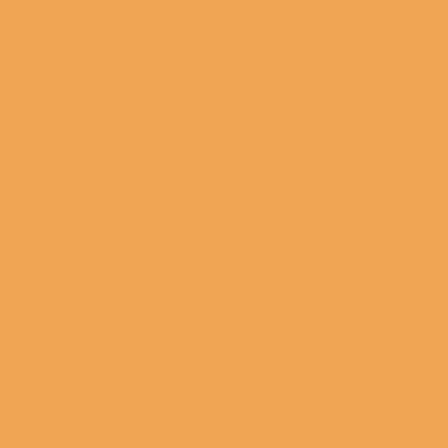Gives It A Crispness That Will Enliven Bedrooms, While The Slightly Faded Finish Gives It The Antique Feel Of A Quilt That Has Been Lovingly Worn. With A 100% Cotton Cover And Fill, The Quilt Is Machine Washable And Wears Beautifully. Importdd.
Manufacturer: Plow & Hearth SKU: 441757776 Category: Home~~ Garden